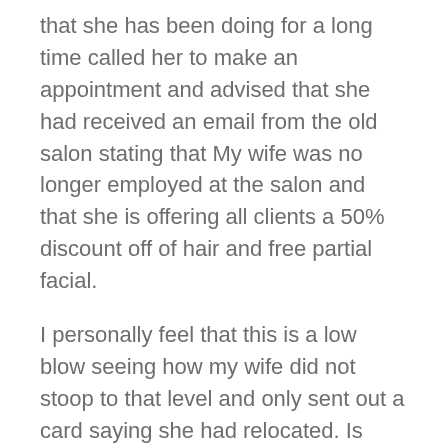that she has been doing for a long time called her to make an appointment and advised that she had received an email from the old salon stating that My wife was no longer employed at the salon and that she is offering all clients a 50% discount off of hair and free partial facial.
I personally feel that this is a low blow seeing how my wife did not stoop to that level and only sent out a card saying she had relocated. Is there anything that can be done to my wife for sending the cards or any advice you can give on how we should respond to the owners threats?
I appreciate everyone’s time and look forward to your responses.
The concerned husband,